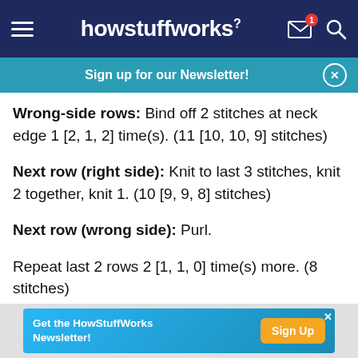howstuffworks
Sign up for our Newsletter!
Wrong-side rows: Bind off 2 stitches at neck edge 1 [2, 1, 2] time(s). (11 [10, 10, 9] stitches)
Next row (right side): Knit to last 3 stitches, knit 2 together, knit 1. (10 [9, 9, 8] stitches)
Next row (wrong side): Purl.
Repeat last 2 rows 2 [1, 1, 0] time(s) more. (8 stitches)
Get the HowStuffWorks Newsletter! Sign Up